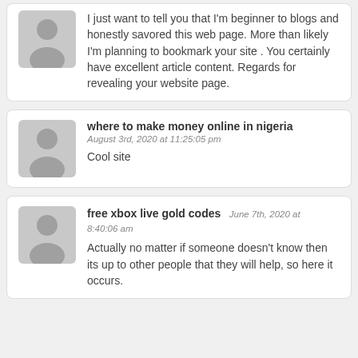I just want to tell you that I'm beginner to blogs and honestly savored this web page. More than likely I'm planning to bookmark your site . You certainly have excellent article content. Regards for revealing your website page.
where to make money online in nigeria
August 3rd, 2020 at 11:25:05 pm
Cool site
free xbox live gold codes
June 7th, 2020 at 8:40:06 am
Actually no matter if someone doesn't know then its up to other people that they will help, so here it occurs.